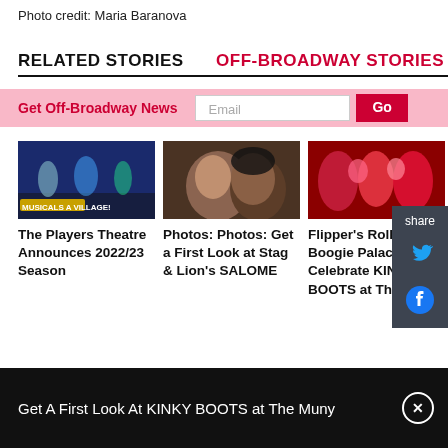Photo credit: Maria Baranova
RELATED STORIES
OFF-BROADWAY STORIES
Get Off-Broadway News
[Figure (photo): Musical theatre scene with performers on stage]
The Players Theatre Announces 2022/23 Season
[Figure (photo): Two women in close-up, one looking up]
Photos: Photos: Get a First Look at Stag & Lion's SALOME
[Figure (photo): Performers in red costumes on stage]
Flipper's Roller Boogie Palace to Celebrate KINKY BOOTS at The
Get A First Look At KINKY BOOTS at The Muny